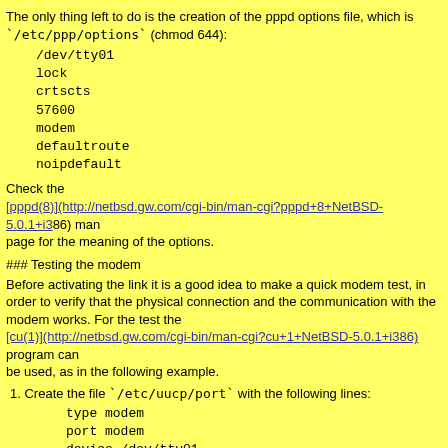The only thing left to do is the creation of the pppd options file, which is `/etc/ppp/options` (chmod 644):
/dev/tty01
lock
crtscts
57600
modem
defaultroute
noipdefault
Check the [pppd(8)](http://netbsd.gw.com/cgi-bin/man-cgi?pppd+8+NetBSD-5.0.1+i386) man page for the meaning of the options.
### Testing the modem
Before activating the link it is a good idea to make a quick modem test, in order to verify that the physical connection and the communication with the modem works. For the test the [cu(1)](http://netbsd.gw.com/cgi-bin/man-cgi?cu+1+NetBSD-5.0.1+i386) program can be used, as in the following example.
1. Create the file `/etc/uucp/port` with the following lines:
type modem
port modem
device /dev/tty01